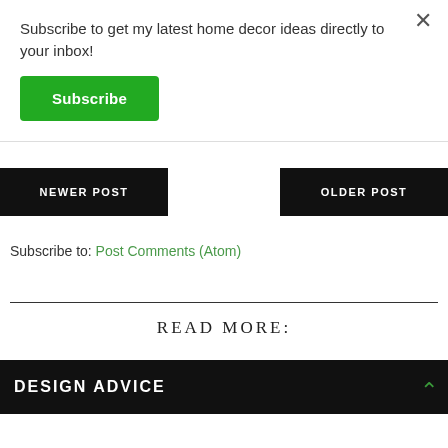Subscribe to get my latest home decor ideas directly to your inbox!
Subscribe
×
NEWER POST
OLDER POST
Subscribe to: Post Comments (Atom)
READ MORE:
DESIGN ADVICE